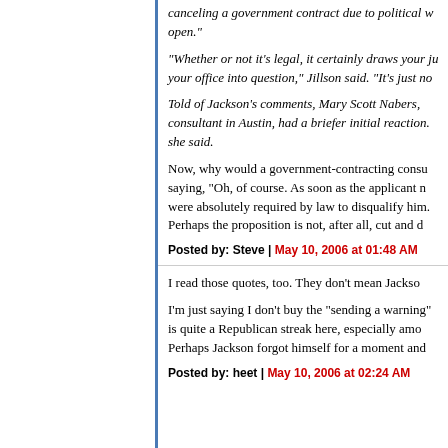canceling a government contract due to political w... open."
"Whether or not it's legal, it certainly draws your j... your office into question," Jillson said. "It's just no...
Told of Jackson's comments, Mary Scott Nabers,... consultant in Austin, had a briefer initial reaction.... she said.
Now, why would a government-contracting consu... saying, "Oh, of course. As soon as the applicant n... were absolutely required by law to disqualify him.... Perhaps the proposition is not, after all, cut and d...
Posted by: Steve | May 10, 2006 at 01:48 AM
I read those quotes, too. They don't mean Jackso...
I'm just saying I don't buy the "sending a warning"... is quite a Republican streak here, especially amo... Perhaps Jackson forgot himself for a moment and...
Posted by: heet | May 10, 2006 at 02:24 AM